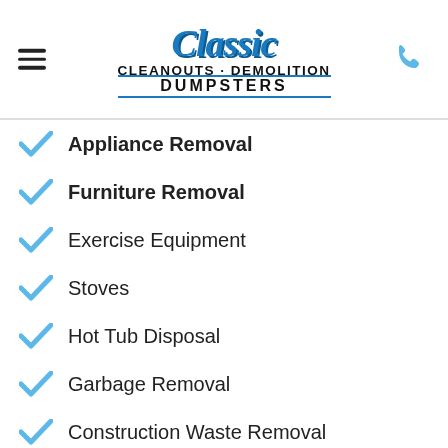[Figure (logo): Classic Cleanouts Demolition Dumpsters logo with blue script 'Classic' text above bold black 'CLEANOUTS · DEMOLITION DUMPSTERS' text]
Appliance Removal
Furniture Removal
Exercise Equipment
Stoves
Hot Tub Disposal
Garbage Removal
Construction Waste Removal